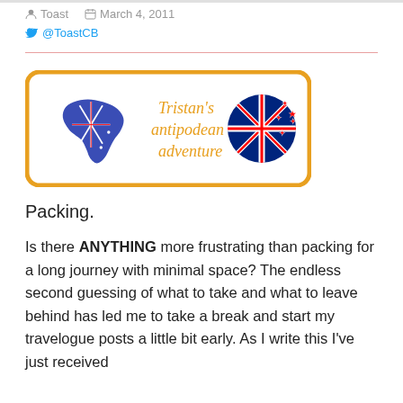Toast  March 4, 2011
@ToastCB
[Figure (logo): Tristan's antipodean adventure logo with Australian map and New Zealand flag circle, orange border]
Packing.
Is there ANYTHING more frustrating than packing for a long journey with minimal space? The endless second guessing of what to take and what to leave behind has led me to take a break and start my travelogue posts a little bit early. As I write this I've just received